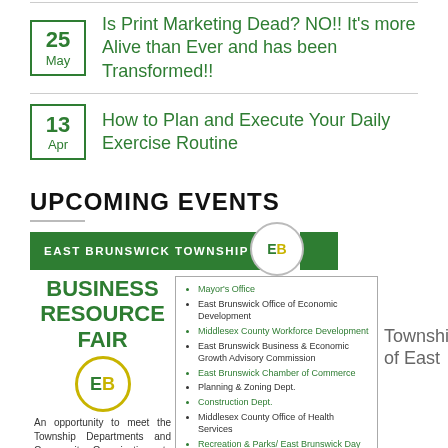25 May – Is Print Marketing Dead? NO!! It's more Alive than Ever and has been Transformed!!
13 Apr – How to Plan and Execute Your Daily Exercise Routine
UPCOMING EVENTS
[Figure (infographic): East Brunswick Township Business Resource Fair promotional image with organizational chart and list of participating departments]
Township of East